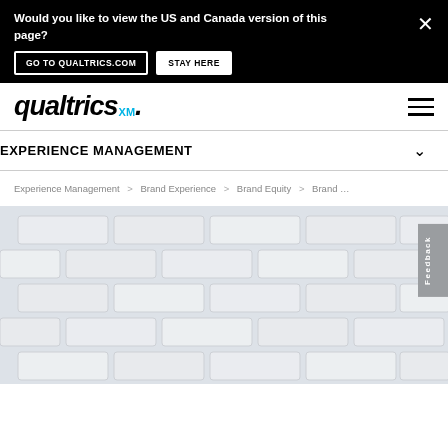Would you like to view the US and Canada version of this page? GO TO QUALTRICS.COM  STAY HERE  ×
[Figure (logo): Qualtrics XM logo with hamburger menu icon]
EXPERIENCE MANAGEMENT
Experience Management > Brand Experience > Brand Equity > Brand ...
[Figure (photo): White brick wall background image, partially cropped, with a feedback tab on the right side]